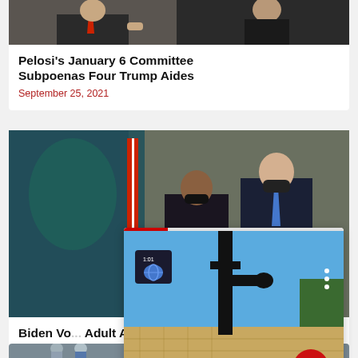[Figure (photo): Two-panel photo at top: left panel shows person in suit with red tie, right panel shows person in dark clothing]
Pelosi's January 6 Committee Subpoenas Four Trump Aides
September 25, 2021
[Figure (photo): Photo of Biden administration officials at podium, including Kamala Harris and Joe Biden wearing masks]
Biden Vo... Adult Am...
March 3, 20...
[Figure (screenshot): Video player overlay showing a faucet silhouette against a blue sky background, with a red play button, video progress bar, and globe news badge]
[Figure (photo): Partial photo at bottom showing people outdoors]